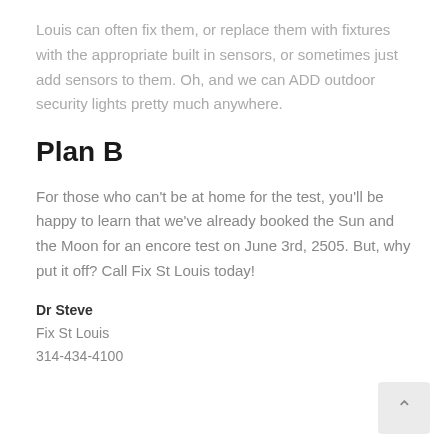Louis can often fix them, or replace them with fixtures with the appropriate built in sensors, or sometimes just add sensors to them. Oh, and we can ADD outdoor security lights pretty much anywhere.
Plan B
For those who can’t be at home for the test, you’ll be happy to learn that we’ve already booked the Sun and the Moon for an encore test on June 3rd, 2505. But, why put it off? Call Fix St Louis today!
Dr Steve
Fix St Louis
314-434-4100